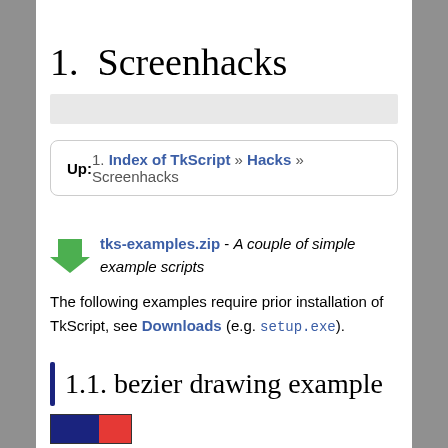1. Screenhacks
[Figure (other): Gray horizontal bar divider]
| Up: | 1. Index of TkScript » Hacks » Screenhacks |
[Figure (other): Green download arrow icon next to tks-examples.zip link and description]
The following examples require prior installation of TkScript, see Downloads (e.g. setup.exe).
1.1. bezier drawing example
[Figure (other): Small thumbnail image showing blue and red color blocks]